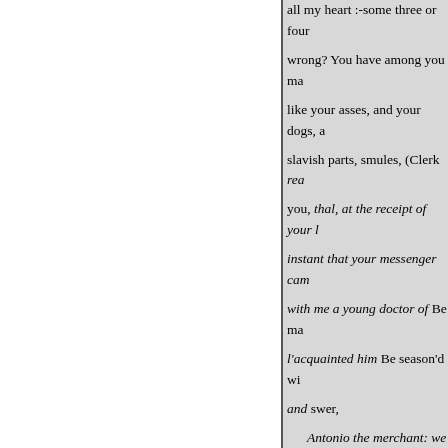all my heart :-some three or four wrong? You have among you ma like your asses, and your dogs, a slavish parts, smules, (Clerk read you, thal, at the receipt of your l instant that your messenger cam with me a young doctor of Be ma l'acquainted him Be season'd wi and swer,

Antonio the merchant: we turn is furnish'd with my opinion; wh learning, the greatness Is dearly comes with If you deny me, fie u

him, at my importunity, to fill up stead. I beseech you, let his lack let him back a reverend

Duke. Upon my power, I may di Bellario, a learned doctor, [court determine this, ceptunce, whose mendation. Sular. My lord, here

Duke. You hear the learn'd Be